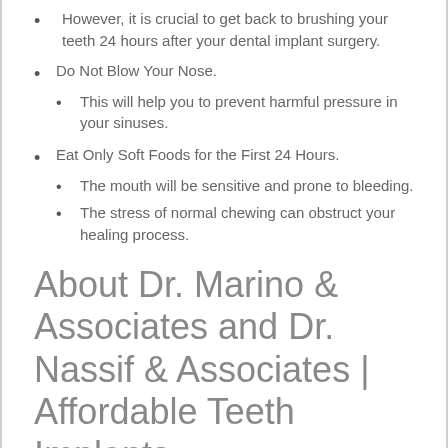However, it is crucial to get back to brushing your teeth 24 hours after your dental implant surgery.
Do Not Blow Your Nose.
This will help you to prevent harmful pressure in your sinuses.
Eat Only Soft Foods for the First 24 Hours.
The mouth will be sensitive and prone to bleeding.
The stress of normal chewing can obstruct your healing process.
About Dr. Marino & Associates and Dr. Nassif & Associates | Affordable Teeth Implants
Patients across Northeast Ohio depend on the quality